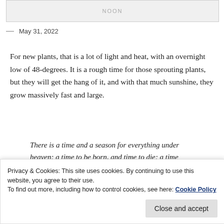[Figure (other): Partial image with 'NOON' text label visible at top of page]
— May 31, 2022
For new plants, that is a lot of light and heat, with an overnight low of 48-degrees. It is a rough time for those sprouting plants, but they will get the hang of it, and with that much sunshine, they grow massively fast and large.
There is a time and a season for everything under heaven: a time to be born, and time to die; a time to plant, and a time to uproot.
ECCLESIASTES 3:1-2
Privacy & Cookies: This site uses cookies. By continuing to use this website, you agree to their use.
To find out more, including how to control cookies, see here: Cookie Policy